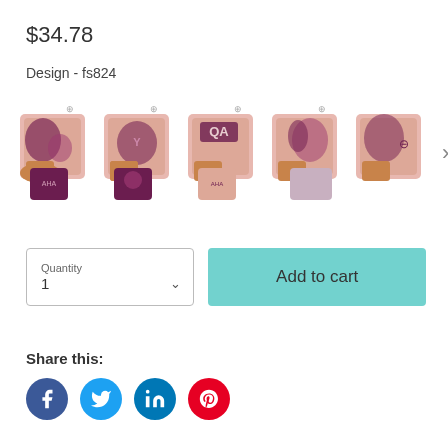$34.78
Design - fs824
[Figure (photo): Five product thumbnail images of decorative pillows with purple/mauve floral designs and a hand, each shown with a small accent pillow. A right arrow navigation indicator is visible at the end.]
Quantity
1
Add to cart
Share this:
[Figure (infographic): Four social media share icons: Facebook (blue), Twitter (light blue), LinkedIn (dark blue), Pinterest (red)]